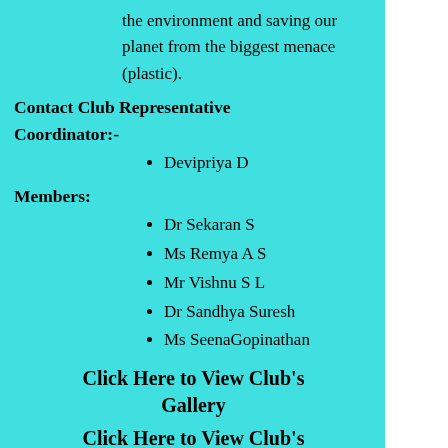the environment and saving our planet from the biggest menace (plastic).
Contact Club Representative
Coordinator:-
Devipriya D
Members:
Dr Sekaran S
Ms Remya A S
Mr Vishnu S L
Dr Sandhya Suresh
Ms SeenaGopinathan
Click Here to View Club's Gallery
Click Here to View Club's